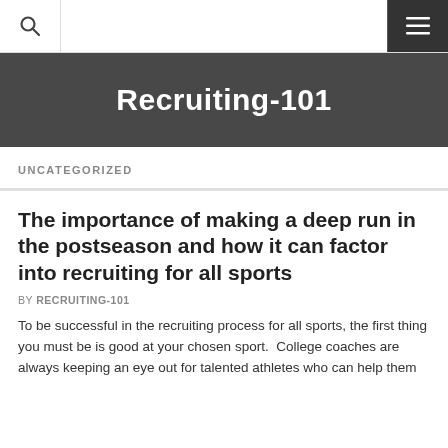Recruiting-101
UNCATEGORIZED
The importance of making a deep run in the postseason and how it can factor into recruiting for all sports
BY RECRUITING-101
To be successful in the recruiting process for all sports, the first thing you must be is good at your chosen sport.  College coaches are always keeping an eye out for talented athletes who can help them